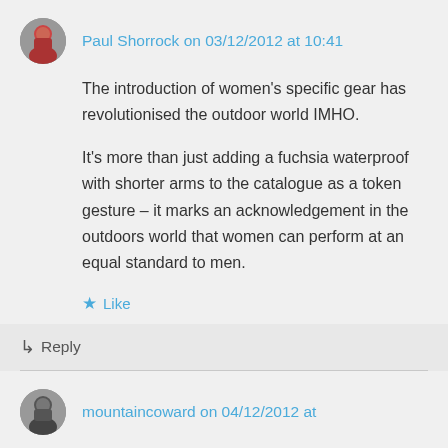Paul Shorrock on 03/12/2012 at 10:41
The introduction of women's specific gear has revolutionised the outdoor world IMHO.

It's more than just adding a fuchsia waterproof with shorter arms to the catalogue as a token gesture – it marks an acknowledgement in the outdoors world that women can perform at an equal standard to men.
★ Like
↳ Reply
mountaincoward on 04/12/2012 at